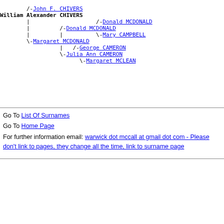[Figure (other): Genealogy descendant tree for CHIVERS family showing William Alexander CHIVERS and ancestors: John F. CHIVERS, Donald MCDONALD, Mary CAMPBELL, Margaret MCDONALD, George CAMERON, Julia Ann CAMERON, Margaret MCLEAN]
Go To List Of Surnames
Go To Home Page
For further information email: warwick dot mccall at gmail dot com - Please don't link to pages, they change all the time, link to surname page